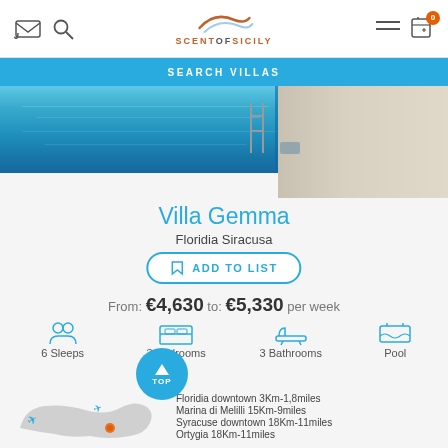Scent of Sicily — navigation header with search and menu icons
SEARCH VILLAS
[Figure (photo): Swimming pool with blue water, metal ladder, and stone/tiled edge on the right side]
Villa Gemma
Floridia Siracusa
ADD TO LIST
From: €4,630 to: €5,330 per week
6 Sleeps   3 Bedrooms   3 Bathrooms   Pool
Floridia downtown 3Km-1,8miles
Marina di Melilli 15Km-9miles
Syracuse downtown 18Km-11miles
Ortygia 18Km-11miles